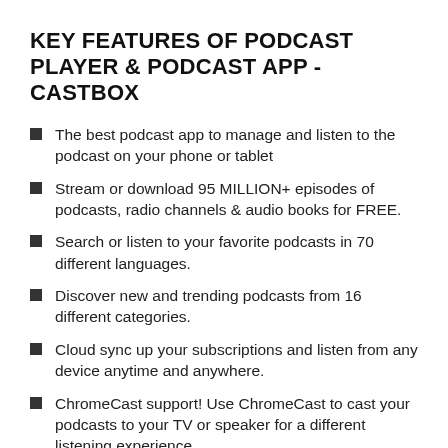KEY FEATURES OF PODCAST PLAYER & PODCAST APP - CASTBOX
The best podcast app to manage and listen to the podcast on your phone or tablet
Stream or download 95 MILLION+ episodes of podcasts, radio channels & audio books for FREE.
Search or listen to your favorite podcasts in 70 different languages.
Discover new and trending podcasts from 16 different categories.
Cloud sync up your subscriptions and listen from any device anytime and anywhere.
ChromeCast support! Use ChromeCast to cast your podcasts to your TV or speaker for a different listening experience.